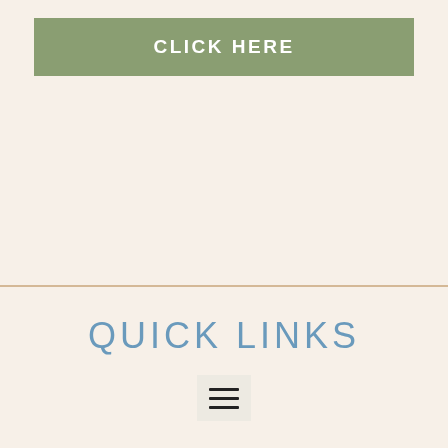CLICK HERE
QUICK LINKS
[Figure (other): Hamburger menu icon — three horizontal lines on a light beige square background]
© Special Needs for Special Kids